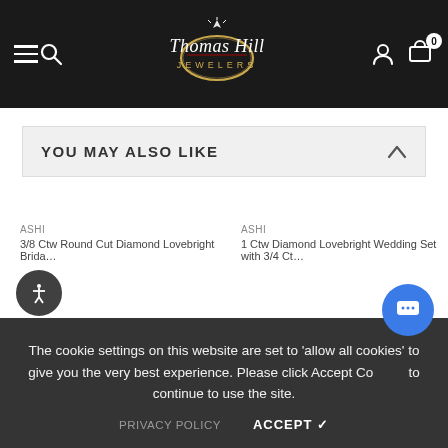Thomas Hill Jewelers – site navigation header with menu, search, logo, account, and cart (0 items)
YOU MAY ALSO LIKE
The cookie settings on this website are set to 'allow all cookies' to give you the very best experience. Please click Accept Cookies to continue to use the site.
PRIVACY POLICY
ACCEPT ✓
ASHI – 3/8 Ctw Round Cut Diamond Lovebright Brida…
ASHI – 1 Ctw Diamond Lovebright Wedding Set with 3/4 Ct…